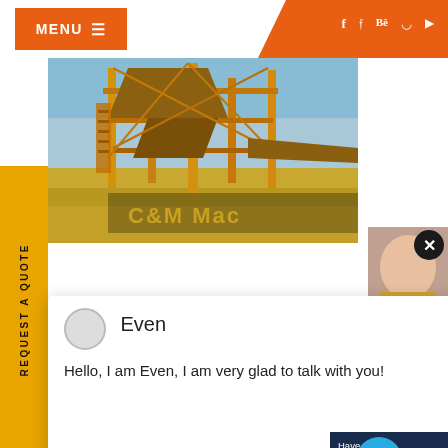MENU  [social icons: f, twitter, Be, pinterest, youtube]
[Figure (photo): Yellow industrial mining/crushing machinery structure against blue sky with sandy terrain below, showing C&M Mac(hinery) branding]
REQUEST A QUOTE
[Figure (screenshot): Chat popup with avatar and name 'Even', message: 'Hello, I am Even, I am very glad to talk with you!']
Have any [questions,] click here.
Quot[e]
1
Enquiry
drobilkalm
portable rock crushers australia - fruit-fanta
small portable rock crusher western australia
List Wholesale, Crushers Prices Suppliers 201